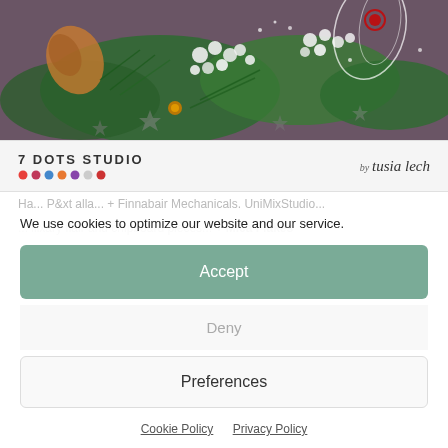[Figure (photo): Close-up photo of a decorative craft/scrapbooking arrangement with pine branches, white berries, star shapes, wooden embellishments, and sparkly floral elements on a textured purple-brown background.]
[Figure (logo): 7 Dots Studio logo with colored dot row, and cursive 'by tusia lech' signature on right side.]
We use cookies to optimize our website and our service.
Accept
Deny
Preferences
Cookie Policy   Privacy Policy